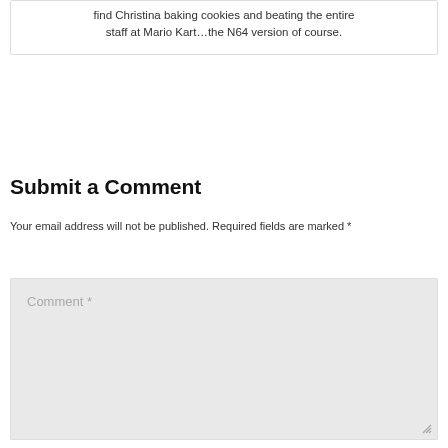find Christina baking cookies and beating the entire staff at Mario Kart…the N64 version of course.
Submit a Comment
Your email address will not be published. Required fields are marked *